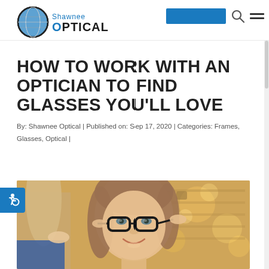[Figure (logo): Shawnee Optical logo with globe icon, 'Shawnee' in blue above 'OPTICAL' in bold black with blue O]
HOW TO WORK WITH AN OPTICIAN TO FIND GLASSES YOU'LL LOVE
By: Shawnee Optical | Published on: Sep 17, 2020 | Categories: Frames, Glasses, Optical |
[Figure (photo): Photo of a smiling woman trying on black-framed glasses while an optician adjusts them from behind, in an optical shop with frames on display in the background]